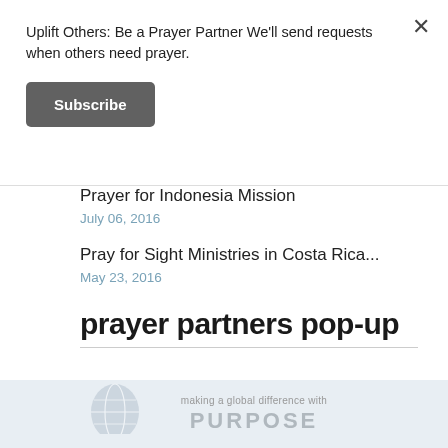Uplift Others: Be a Prayer Partner We'll send requests when others need prayer.
Subscribe
Prayer for Indonesia Mission
July 06, 2016
Pray for Sight Ministries in Costa Rica...
May 23, 2016
prayer partners pop-up
[Figure (logo): Making a global difference with PURPOSE logo with globe graphic]
making a global difference with PURPOSE